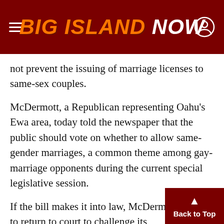BIG ISLAND NOW
not prevent the issuing of marriage licenses to same-sex couples.
McDermott, a Republican representing Oahu's Ewa area, today told the newspaper that the public should vote on whether to allow same-gender marriages, a common theme among gay-marriage opponents during the current special legislative session.
If the bill makes it into law, McDermott vowed to return to court to challenge its constitutionality.
The lawsuit is just one of several methods opponents have been using to try to slow or stop the bill's progress, as detailed on this Facebook page. C…